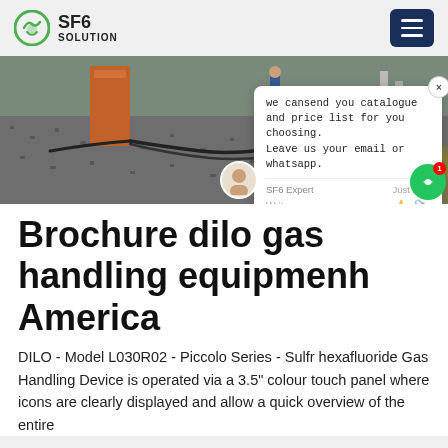SF6 SOLUTION
[Figure (photo): Outdoor industrial site with cables/hoses on gravel ground, orange equipment cabinet, person in background, gas handling equipment setup]
Brochure dilo gas handling equipment h America
DILO - Model L030R02 - Piccolo Series - Sulfr hexafluoride Gas Handling Device is operated via a 3.5" colour touch panel where icons are clearly displayed and allow a quick overview of the entire